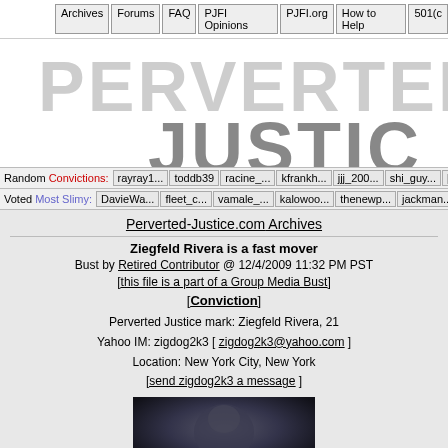Archives | Forums | FAQ | PJFI Opinions | PJFI.org | How to Help | 501(c
[Figure (logo): Perverted Justice website logo in large gray distressed text reading PERVERTED JUSTICE]
Random Convictions: rayray1... toddb39 racine_... kfrankh... jjj_200... shi_guy... [full arc
Voted Most Slimy: DavieWa... fleet_c... vamale_... kalowoo... thenewp... jackman... [full
Perverted-Justice.com Archives
Ziegfeld Rivera is a fast mover
Bust by Retired Contributor @ 12/4/2009 11:32 PM PST
[this file is a part of a Group Media Bust]
[Conviction]
Perverted Justice mark: Ziegfeld Rivera, 21
Yahoo IM: zigdog2k3 [ zigdog2k3@yahoo.com ]
Location: New York City, New York
[send zigdog2k3 a message ]
[Figure (photo): Dark photograph partially visible at bottom of page]